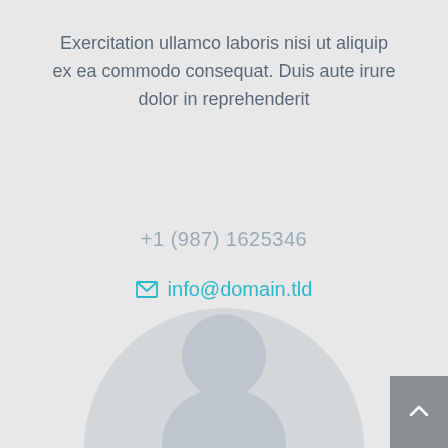Exercitation ullamco laboris nisi ut aliquip ex ea commodo consequat. Duis aute irure dolor in reprehenderit
+1 (987) 1625346
info@domain.tld
[Figure (illustration): Circular avatar placeholder with a generic person silhouette showing a round head and rounded body shape, in light gray tones on a slightly darker gray circle background.]